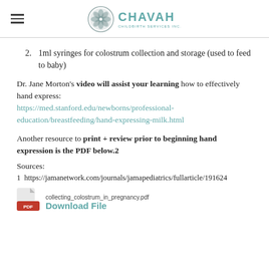CHAVAH CHILDBIRTH SERVICES INC.
1ml syringes for colostrum collection and storage (used to feed to baby)
Dr. Jane Morton's video will assist your learning how to effectively hand express: https://med.stanford.edu/newborns/professional-education/breastfeeding/hand-expressing-milk.html
Another resource to print + review prior to beginning hand expression is the PDF below.2
Sources:
1  https://jamanetwork.com/journals/jamapediatrics/fullarticle/191624
[Figure (other): PDF icon (Adobe Reader style red and white page icon)]
collecting_colostrum_in_pregnancy.pdf Download File